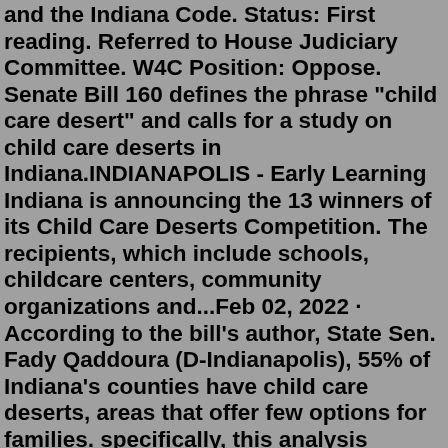and the Indiana Code. Status: First reading. Referred to House Judiciary Committee. W4C Position: Oppose. Senate Bill 160 defines the phrase "child care desert" and calls for a study on child care deserts in Indiana.INDIANAPOLIS - Early Learning Indiana is announcing the 13 winners of its Child Care Deserts Competition. The recipients, which include schools, childcare centers, community organizations and...Feb 02, 2022 · According to the bill's author, State Sen. Fady Qaddoura (D-Indianapolis), 55% of Indiana's counties have child care deserts, areas that offer few options for families. specifically, this analysis defines child care deserts as neighborhoods or communities that are either lacking any child care options or have so few child care providers that there are more than...More than 650,000 people live in one of Indiana's obstetric deserts, defined as a county without an inpatient delivery room. Jen Kimbro lives in the largest one in Indiana, 16 counties smashed ...Jan 24, 2020 · Early Learning Indiana is announcing the 13 winners of its Child Care Deserts